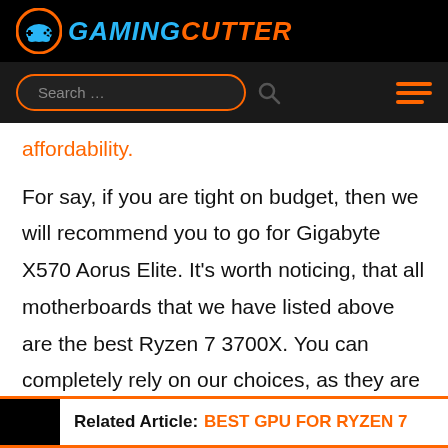GamingCutter — navigation bar with logo, search, and menu
affordability.
For say, if you are tight on budget, then we will recommend you to go for Gigabyte X570 Aorus Elite. It's worth noticing, that all motherboards that we have listed above are the best Ryzen 7 3700X. You can completely rely on our choices, as they are not mediocre and carry enough reputation.
Related Article: BEST GPU FOR RYZEN 7